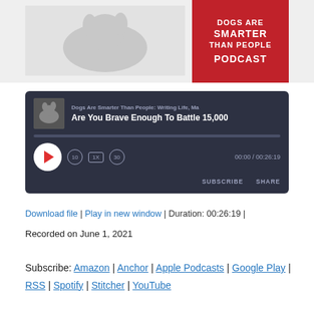[Figure (screenshot): Podcast banner image showing a dog photo on the left and a red box with text 'DOGS ARE SMARTER THAN PEOPLE PODCAST' on the right]
[Figure (screenshot): Podcast audio player widget with dark background showing episode 'Dogs Are Smarter Than People: Writing Life, Ma... - Are You Brave Enough To Battle 15,000...' with play button, progress bar, time 00:00 / 00:26:19, SUBSCRIBE and SHARE buttons]
Download file | Play in new window | Duration: 00:26:19 |
Recorded on June 1, 2021
Subscribe: Amazon | Anchor | Apple Podcasts | Google Play | RSS | Spotify | Stitcher | YouTube